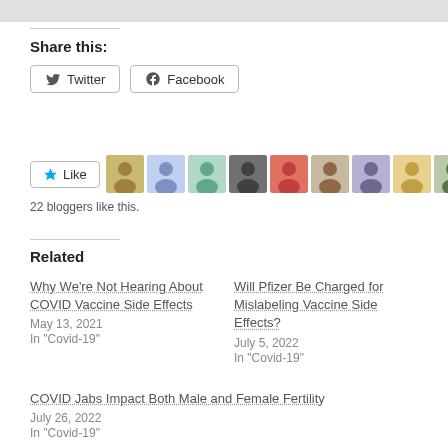Share this:
Twitter  Facebook
Like  22 bloggers like this.
Related
Why We're Not Hearing About COVID Vaccine Side Effects
May 13, 2021
In "Covid-19"
Will Pfizer Be Charged for Mislabeling Vaccine Side Effects?
July 5, 2022
In "Covid-19"
COVID Jabs Impact Both Male and Female Fertility
July 26, 2022
In "Covid-19"